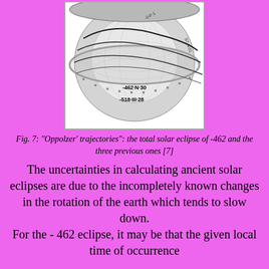[Figure (photo): Black and white photograph of a physical globe or sphere showing eclipse trajectory paths ('Oppolzer trajectories') with labels such as -462·N·30 and -518·III·28 inscribed on the surface.]
Fig. 7: "Oppolzer' trajectories": the total solar eclipse of -462 and the three previous ones [7]
The uncertainties in calculating ancient solar eclipses are due to the incompletely known changes in the rotation of the earth which tends to slow down. For the - 462 eclipse, it may be that the given local time of occurrence